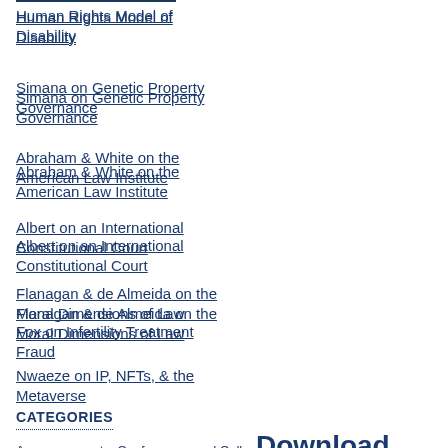Human Rights Model of Disability
Simana on Genetic Property Governance
Abraham & White on the American Law Institute
Albert on an International Constitutional Court
Flanagan & de Almeida on the Moral Dimensions of Law
Fox on Infertility Treatment Fraud
Nwaeze on IP, NFTs, & the Metaverse
CATEGORIES
Announcements  Conferences and Calls  Download of the Week